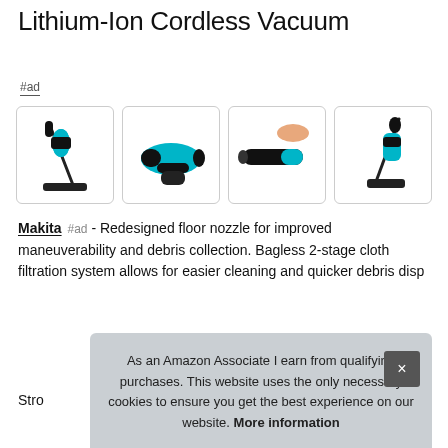Lithium-Ion Cordless Vacuum
#ad
[Figure (photo): Four product photos of a Makita cordless vacuum in different configurations and angles, each shown in a white rounded-corner box.]
Makita #ad - Redesigned floor nozzle for improved maneuverability and debris collection. Bagless 2-stage cloth filtration system allows for easier cleaning and quicker debris disp...
As an Amazon Associate I earn from qualifying purchases. This website uses the only necessary cookies to ensure you get the best experience on our website. More information
Stro...